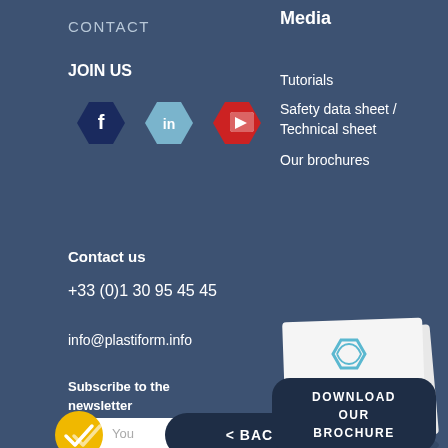CONTACT
Media
JOIN US
[Figure (illustration): Three social media icons: Facebook (dark blue hexagon), LinkedIn (light blue hexagon), YouTube (red hexagon with play button)]
Tutorials
Safety data sheet / Technical sheet
Our brochures
Contact us
+33 (0)1 30 95 45 45
info@plastiform.info
[Figure (photo): A white product brochure/booklet with the Plastiform logo (hexagonal shape with arrows) on the cover]
Subscribe to the newsletter
[Figure (illustration): Yellow circular checkmark/confirm button]
< BACK
DOWNLOAD OUR BROCHURE